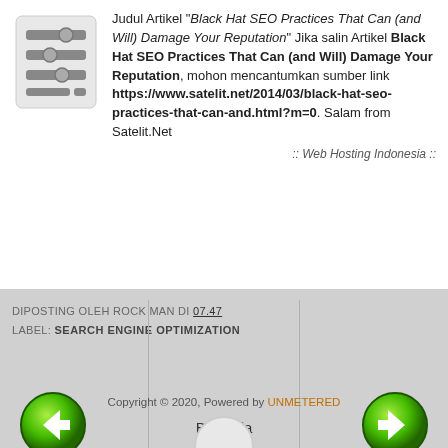[Figure (illustration): Server/settings icon with horizontal bars and a circle slider, gray color]
Judul Artikel "Black Hat SEO Practices That Can (and Will) Damage Your Reputation" Jika salin Artikel Black Hat SEO Practices That Can (and Will) Damage Your Reputation, mohon mencantumkan sumber link https://www.satelit.net/2014/03/black-hat-seo-practices-that-can-and.html?m=0. Salam from Satelit.Net
:: Web Hosting Indonesia ::
DIPOSTING OLEH ROCK MAN DI 07.47
LABEL: SEARCH ENGINE OPTIMIZATION
[Figure (illustration): Green circle button with left arrow (back navigation)]
Beranda
[Figure (illustration): Green circle button with right arrow (forward navigation)]
Copyright © 2020, Powered by UNMETERED